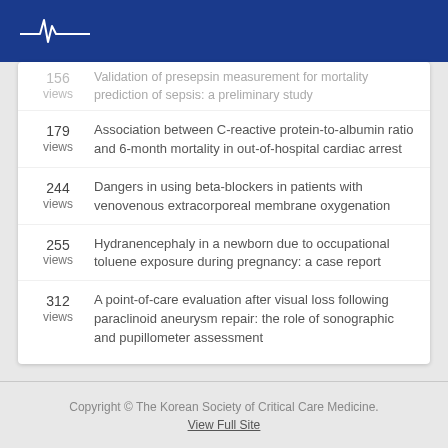ECG logo header
156 views — Validation of presepsin measurement for mortality prediction of sepsis: a preliminary study
179 views — Association between C-reactive protein-to-albumin ratio and 6-month mortality in out-of-hospital cardiac arrest
244 views — Dangers in using beta-blockers in patients with venovenous extracorporeal membrane oxygenation
255 views — Hydranencephaly in a newborn due to occupational toluene exposure during pregnancy: a case report
312 views — A point-of-care evaluation after visual loss following paraclinoid aneurysm repair: the role of sonographic and pupillometer assessment
Copyright © The Korean Society of Critical Care Medicine. View Full Site